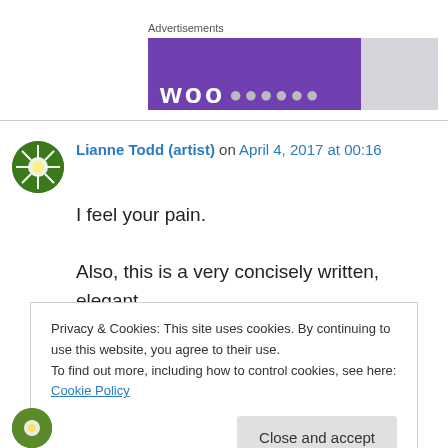Advertisements
[Figure (screenshot): Purple advertisement banner with white text partially visible]
Lianne Todd (artist) on April 4, 2017 at 00:16
I feel your pain.
Also, this is a very concisely written, elegant essay. I'll be sharing, not on my blog but
Privacy & Cookies: This site uses cookies. By continuing to use this website, you agree to their use.
To find out more, including how to control cookies, see here: Cookie Policy